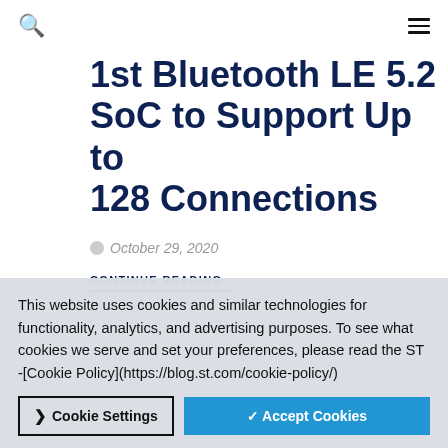Search | Menu
1st Bluetooth LE 5.2 SoC to Support Up to 128 Connections
October 29, 2020
CONTINUE READING ›
This website uses cookies and similar technologies for functionality, analytics, and advertising purposes. To see what cookies we serve and set your preferences, please read the ST -[Cookie Policy](https://blog.st.com/cookie-policy/)
Cookie Settings   ✓ Accept Cookies